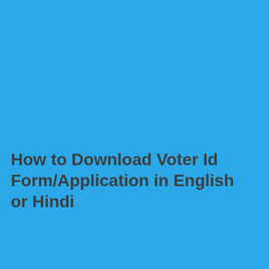How to Download Voter Id Form/Application in English or Hindi